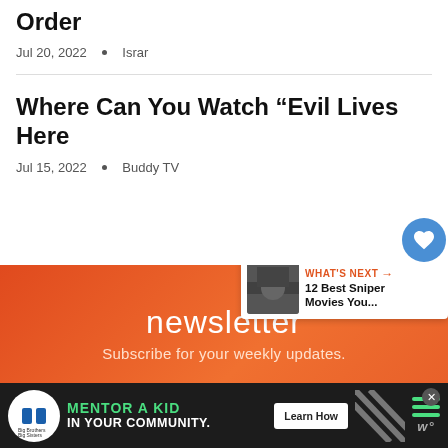Order
Jul 20, 2022 • Israr
Where Can You Watch “Evil Lives Here
Jul 15, 2022 • Buddy TV
[Figure (infographic): Orange newsletter banner with text 'newsletter' and 'Subscribe for your weekly updates.']
[Figure (infographic): What's Next panel showing '12 Best Sniper Movies You...' with thumbnail image]
[Figure (infographic): Advertisement bar: Big Brothers Big Sisters - Mentor a Kid in Your Community. Learn How button.]